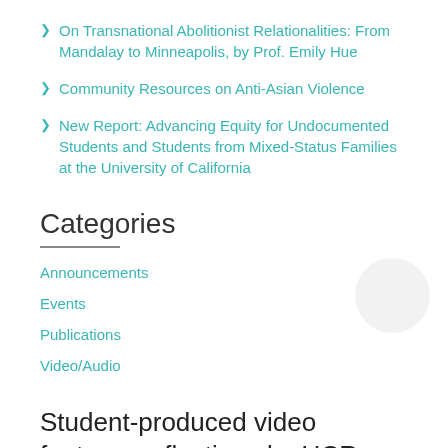On Transnational Abolitionist Relationalities: From Mandalay to Minneapolis, by Prof. Emily Hue
Community Resources on Anti-Asian Violence
New Report: Advancing Equity for Undocumented Students and Students from Mixed-Status Families at the University of California
Categories
Announcements
Events
Publications
Video/Audio
Student-produced video features reflections by UCR student moms